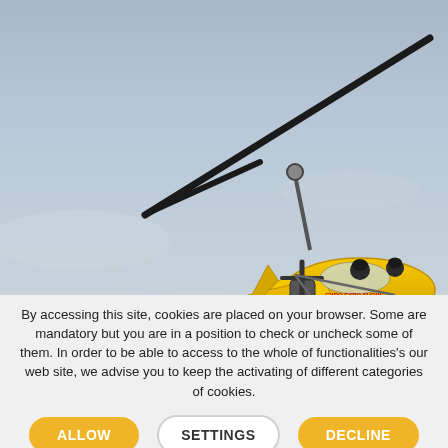[Figure (photo): A yellow gyrocopter (autogyro) with two occupants flying in a blue-grey sky. The aircraft has a large rotor blade on top and a pusher propeller behind the cockpit. The craft is small and open-framed.]
By accessing this site, cookies are placed on your browser. Some are mandatory but you are in a position to check or uncheck some of them. In order to be able to access to the whole of functionalities's our web site, we advise you to keep the activating of different categories of cookies.